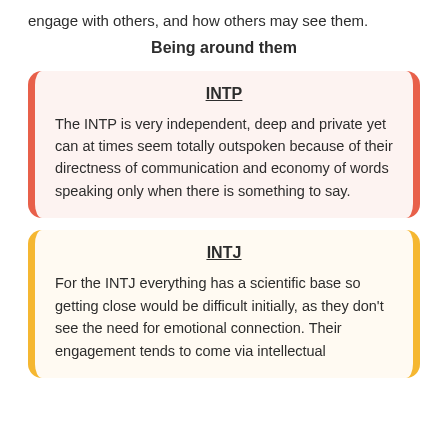engage with others, and how others may see them.
Being around them
INTP
The INTP is very independent, deep and private yet can at times seem totally outspoken because of their directness of communication and economy of words speaking only when there is something to say.
INTJ
For the INTJ everything has a scientific base so getting close would be difficult initially, as they don't see the need for emotional connection. Their engagement tends to come via intellectual